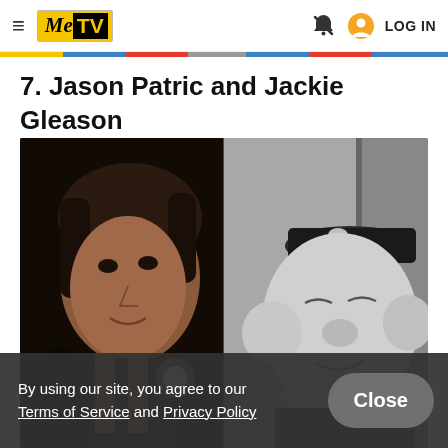MeTV | LOG IN
7. Jason Patric and Jackie Gleason
[Figure (photo): Side-by-side composite: left half shows Jason Patric (color photo, man with dark hair looking to the side at night), right half shows Jackie Gleason (black and white photo, heavyset man wearing a bus driver cap)]
By using our site, you agree to our Terms of Service and Privacy Policy
Close